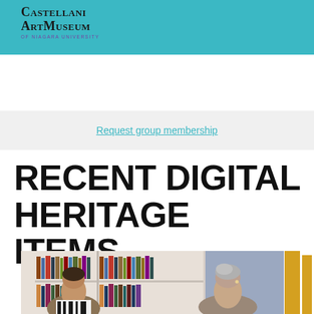Castellani Art Museum of Niagara University
Request group membership
RECENT DIGITAL HERITAGE ITEMS
[Figure (photo): Two women sitting in front of a bookshelf filled with books, having a conversation. One woman on the left is wearing a black and white patterned top, and one on the right has short grey hair.]